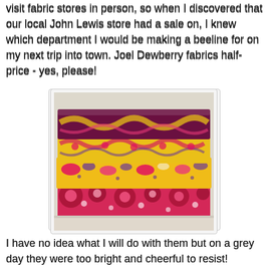visit fabric stores in person, so when I discovered that our local John Lewis store had a sale on, I knew which department I would be making a beeline for on my next trip into town. Joel Dewberry fabrics half-price - yes, please!
[Figure (photo): Stack of brightly coloured patterned fabrics folded on a white surface, featuring floral and paisley prints in pink, yellow, purple and red]
I have no idea what I will do with them but on a grey day they were too bright and cheerful to resist!
In another piece of good fortune I discovered today that Sarah of Silly Banana Sewing pulled my name out of the hat in her recent giveaway, so a charm pack of Make Life by Sweetwater for Moda is winging its way to me too! I have just discovered the joys of charm packs, so I am really looking